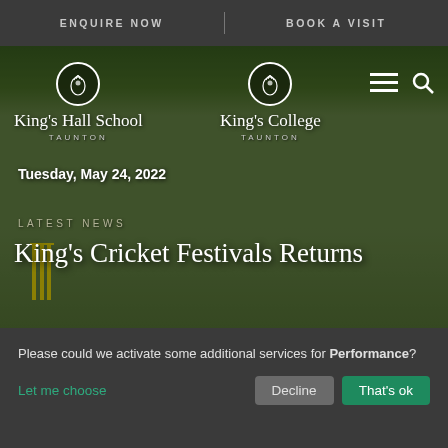ENQUIRE NOW   |   BOOK A VISIT
[Figure (screenshot): School website hero image showing a cricket batsman in action on a green pitch, with King's Hall School Taunton and King's College Taunton logos overlaid, navigation menu icons, and headline text.]
Tuesday, May 24, 2022
LATEST NEWS
King's Cricket Festivals Returns
Please could we activate some additional services for Performance?
Let me choose
Decline
That's ok